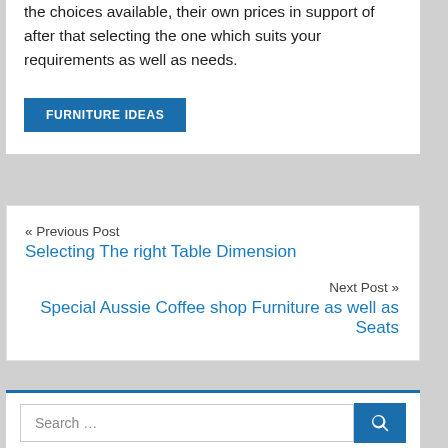the choices available, their own prices in support of after that selecting the one which suits your requirements as well as needs.
FURNITURE IDEAS
« Previous Post
Selecting The right Table Dimension
Next Post »
Special Aussie Coffee shop Furniture as well as Seats